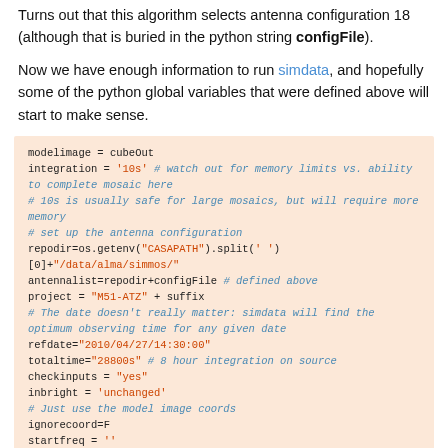Turns out that this algorithm selects antenna configuration 18 (although that is buried in the python string configFile).
Now we have enough information to run simdata, and hopefully some of the python global variables that were defined above will start to make sense.
modelimage = cubeOut
integration = '10s' # watch out for memory limits vs. ability to complete mosaic here
# 10s is usually safe for large mosaics, but will require more memory
# set up the antenna configuration
repodir=os.getenv("CASAPATH").split(' ')[0]+"/data/alma/simmos/"
antennalist=repodir+configFile # defined above
project = "M51-ATZ" + suffix
# The date doesn't really matter: simdata will find the optimum observing time for any given date
refdate="2010/04/27/14:30:00"
totaltime="28800s" # 8 hour integration on source
checkinputs = "yes"
inbright = 'unchanged'
# Just use the model image coords
ignorecoord=F
startfreq = ''
chanwidth = ''
# the pointing center is hardwired in this example
direction = "J2000 13h29m52.349 -47d11m53.795"
pointingspacing = "%farcsec" % pointingSpacing
mosaicsize = [mosaicSize, mosaicSize] # single